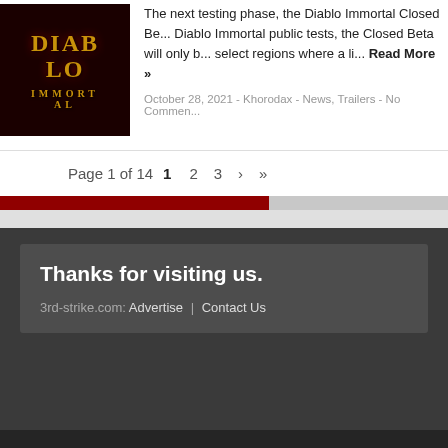[Figure (photo): Diablo Immortal game logo/thumbnail image, dark background with gold stylized text reading DIABLO and IMMORTAL]
The next testing phase, the Diablo Immortal Closed Be... Diablo Immortal public tests, the Closed Beta will only b... select regions where a li... Read More »
October 28, 2021 - Khorodax - News, Trailers - No Commen...
Page 1 of 14   1   2   3   ›   »
Thanks for visiting us.
3rd-strike.com: Advertise | Contact Us